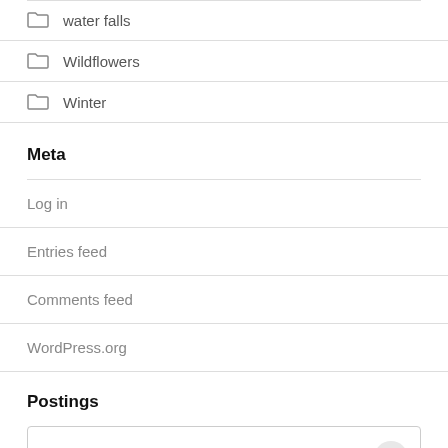water falls
Wildflowers
Winter
Meta
Log in
Entries feed
Comments feed
WordPress.org
Postings
Select Category